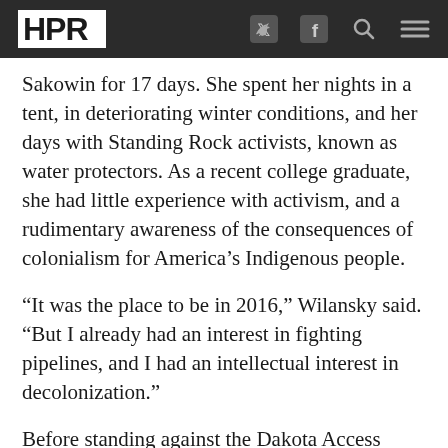HPR
Sakowin for 17 days. She spent her nights in a tent, in deteriorating winter conditions, and her days with Standing Rock activists, known as water protectors. As a recent college graduate, she had little experience with activism, and a rudimentary awareness of the consequences of colonialism for America’s Indigenous people.
“It was the place to be in 2016,” Wilansky said. “But I already had an interest in fighting pipelines, and I had an intellectual interest in decolonization.”
Before standing against the Dakota Access Pipeline, she first became involved against Kinder Morgan’s